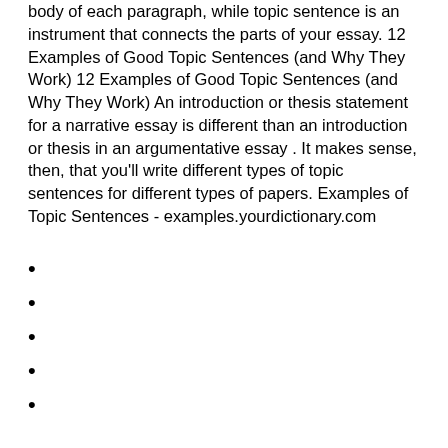body of each paragraph, while topic sentence is an instrument that connects the parts of your essay. 12 Examples of Good Topic Sentences (and Why They Work) 12 Examples of Good Topic Sentences (and Why They Work) An introduction or thesis statement for a narrative essay is different than an introduction or thesis in an argumentative essay . It makes sense, then, that you'll write different types of topic sentences for different types of papers. Examples of Topic Sentences - examples.yourdictionary.com